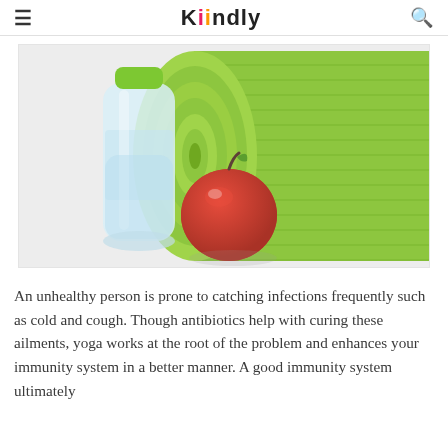≡  Kiindly  🔍
[Figure (photo): A water bottle with green cap, a red apple, and a rolled green yoga/exercise mat on a light gray background]
An unhealthy person is prone to catching infections frequently such as cold and cough. Though antibiotics help with curing these ailments, yoga works at the root of the problem and enhances your immunity system in a better manner. A good immunity system ultimately